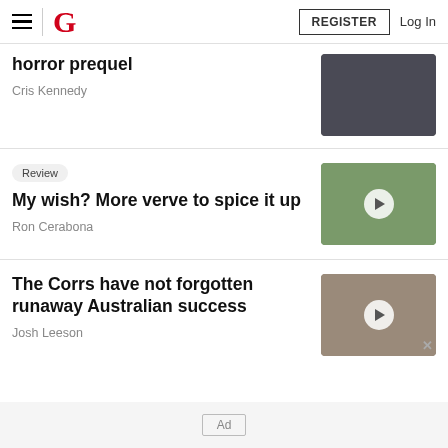G  REGISTER  Log In
horror prequel
Cris Kennedy
Review
My wish? More verve to spice it up
Ron Cerabona
The Corrs have not forgotten runaway Australian success
Josh Leeson
Ad